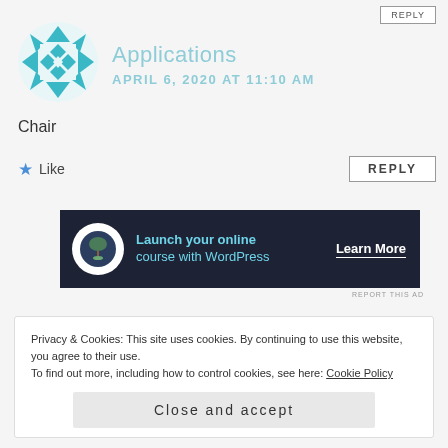[Figure (logo): Geometric teal/white quilt-pattern avatar for Applications user]
Applications
APRIL 6, 2020 AT 11:10 AM
Chair
★ Like
REPLY
[Figure (screenshot): Dark advertisement banner: Launch your online course with WordPress — Learn More button]
REPORT THIS AD
Privacy & Cookies: This site uses cookies. By continuing to use this website, you agree to their use.
To find out more, including how to control cookies, see here: Cookie Policy
Close and accept